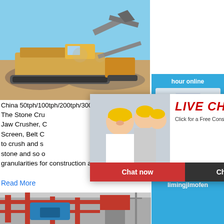[Figure (photo): Outdoor stone crushing machinery/excavator at a quarry site with blue sky background]
China 50tph/100tph/200tph/300tph/500tph Complete Stone ...
The Stone Cru... rating Feeder, Jaw Crusher, C... hour online Screen, Belt C... e to crush and so... stone and so o... granularities for construction and building m...
Read More
[Figure (photo): Red industrial stone crushing plant with blue machinery and steel structure]
[Figure (screenshot): Live chat popup overlay showing workers in hard hats, with LIVE CHAT title and Click for a Free Consultation subtitle, Chat now and Chat later buttons]
[Figure (screenshot): Right sidebar showing hour online, cone crusher machine image, Click me to chat>> button, Enquiry section, and limingjlmofen text on blue background]